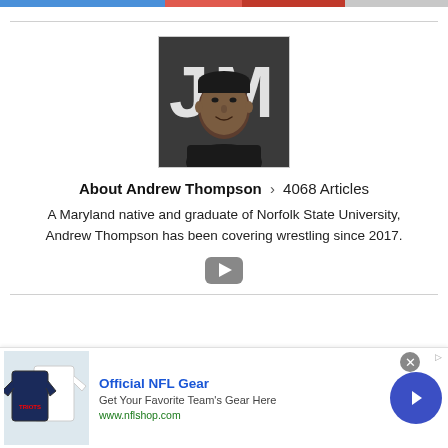[Figure (photo): Navigation color bar at top of page with blue, red, and gray segments]
[Figure (photo): Headshot photo of Andrew Thompson, a young Black man in a dark shirt, with a logo/sign visible in background]
About Andrew Thompson > 4068 Articles
A Maryland native and graduate of Norfolk State University, Andrew Thompson has been covering wrestling since 2017.
[Figure (other): YouTube icon button (rounded rectangle with play triangle)]
[Figure (other): Advertisement banner: Official NFL Gear - Get Your Favorite Team's Gear Here - www.nflshop.com, with NFL jerseys image and blue arrow button]